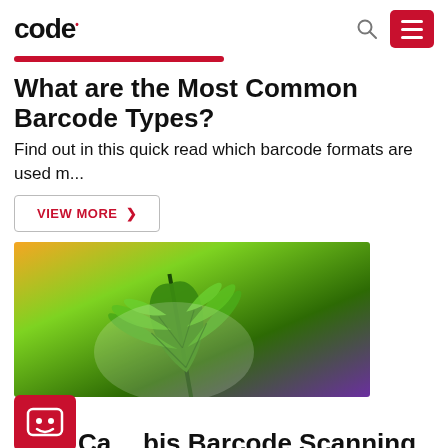code
What are the Most Common Barcode Types?
Find out in this quick read which barcode formats are used m...
VIEW MORE >
[Figure (photo): Close-up photo of a green cannabis leaf with colorful background]
Cannabis Barcode Scanning
For decades, Code has consistently pushed the boundaries